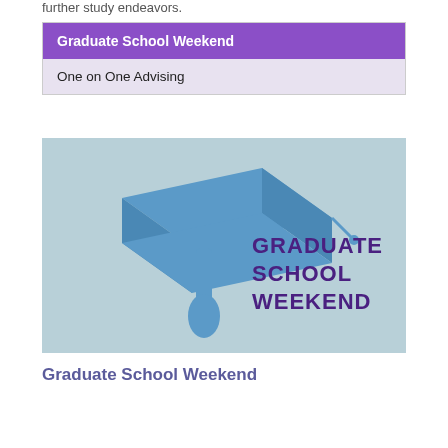further study endeavors.
| Graduate School Weekend |
| One on One Advising |
[Figure (illustration): Light blue background with a blue graduation cap (mortarboard) on the left and bold purple text reading GRADUATE SCHOOL WEEKEND on the right.]
Graduate School Weekend